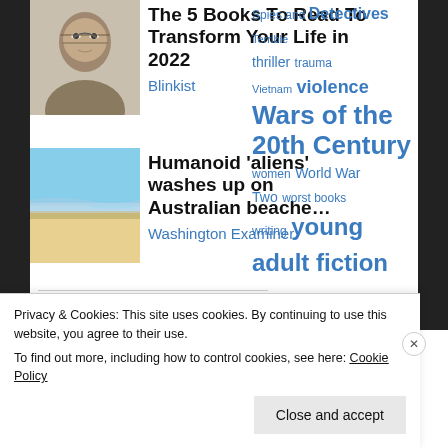[Figure (photo): Thumbnail photo of a person with glasses and beard]
The 5 Books To Read To Transform Your Life in 2022
Blinkist
[Figure (photo): Thumbnail photo of a beach with ocean waves]
Humanoid 'aliens' washes up on Australian beache…
Washington Examiner
Love this blog? Tell a friend!
[Figure (infographic): Share buttons: email, Facebook, Twitter]
[Figure (photo): Small thumbnail images row]
Spies and Detectives Terrible thriller trauma Vietnam violence Wars of the 20th Century women World War Two worst books writing young adult fiction
Recent Comments
[Figure (photo): Avatar for cpopovic commenter]
cpopovic on Madness of Crowds: You…
Privacy & Cookies: This site uses cookies. By continuing to use this website, you agree to their use.
To find out more, including how to control cookies, see here: Cookie Policy
Close and accept